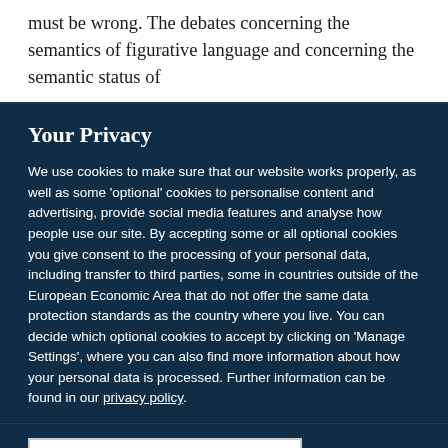must be wrong. The debates concerning the semantics of figurative language and concerning the semantic status of
Your Privacy
We use cookies to make sure that our website works properly, as well as some 'optional' cookies to personalise content and advertising, provide social media features and analyse how people use our site. By accepting some or all optional cookies you give consent to the processing of your personal data, including transfer to third parties, some in countries outside of the European Economic Area that do not offer the same data protection standards as the country where you live. You can decide which optional cookies to accept by clicking on 'Manage Settings', where you can also find more information about how your personal data is processed. Further information can be found in our privacy policy.
Accept all cookies
Manage preferences